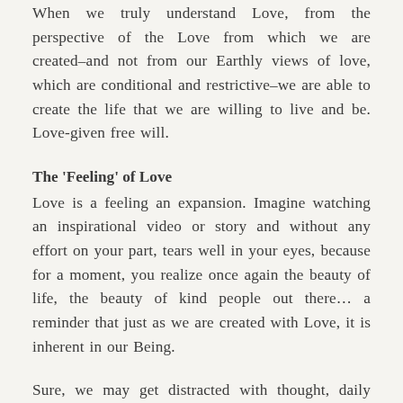When we truly understand Love, from the perspective of the Love from which we are created—and not from our Earthly views of love, which are conditional and restrictive—we are able to create the life that we are willing to live and be. Love-given free will.
The 'Feeling' of Love
Love is a feeling an expansion. Imagine watching an inspirational video or story and without any effort on your part, tears well in your eyes, because for a moment, you realize once again the beauty of life, the beauty of kind people out there… a reminder that just as we are created with Love, it is inherent in our Being.
Sure, we may get distracted with thought, daily tasks, what we view is not going 'right' in our lives, but the inherent, ever-existing gift of WHO